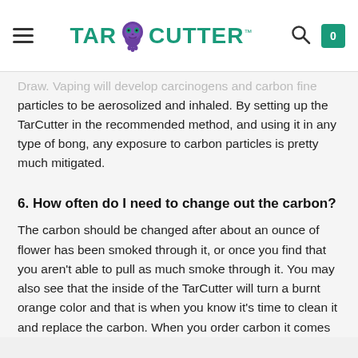TarCutter
Draw. Vaping will develop carcinogens and carbon fine particles to be aerosolized and inhaled. By setting up the TarCutter in the recommended method, and using it in any type of bong, any exposure to carbon particles is pretty much mitigated.
6. How often do I need to change out the carbon?
The carbon should be changed after about an ounce of flower has been smoked through it, or once you find that you aren't able to pull as much smoke through it. You may also see that the inside of the TarCutter will turn a burnt orange color and that is when you know it's time to clean it and replace the carbon. When you order carbon it comes